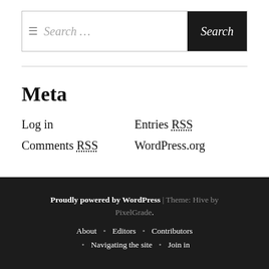Search …  Search
Meta
Log in
Entries RSS
Comments RSS
WordPress.org
Proudly powered by WordPress | Theme: Hive by PixelGrade.  About • Editors • Contributors • Navigating the site • Join in